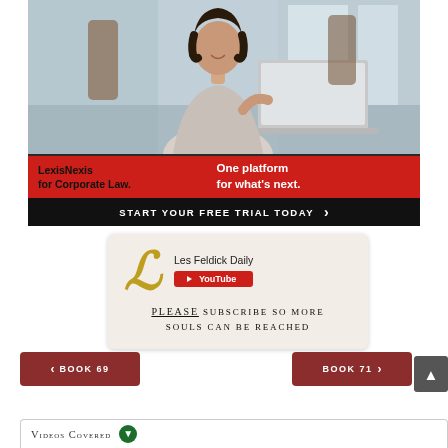[Figure (photo): LexisNexis advertisement banner showing a woman working on laptop in office setting. Red bar reads 'LexisNexis for Corporate Law. One platform for what's next.' Black bar reads 'START YOUR FREE TRIAL TODAY' with arrow.]
[Figure (infographic): Les Feldick Daily YouTube subscription widget with gothic L logo, text 'PLEASE SUBSCRIBE SO MORE SOULS CAN BE REACHED']
< BOOK 69
BOOK 71 >
Videos Covered